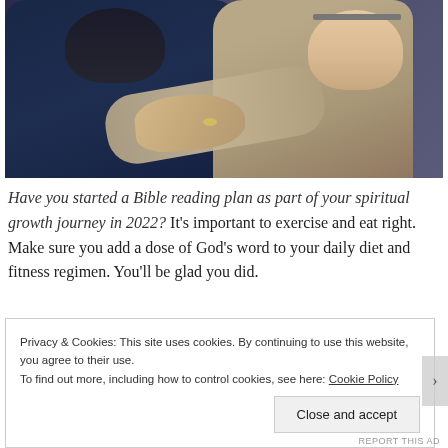[Figure (photo): Two people hugging. One person is bald with glasses wearing a tan/grey hoodie, seen from the side. The other person is seen from behind wearing a dark navy hoodie. Their arms are wrapped around each other. In the upper left background there is audio/electronic equipment visible.]
Have you started a Bible reading plan as part of your spiritual growth journey in 2022? It's important to exercise and eat right. Make sure you add a dose of God's word to your daily diet and fitness regimen. You'll be glad you did.
Privacy & Cookies: This site uses cookies. By continuing to use this website, you agree to their use.
To find out more, including how to control cookies, see here: Cookie Policy
Close and accept